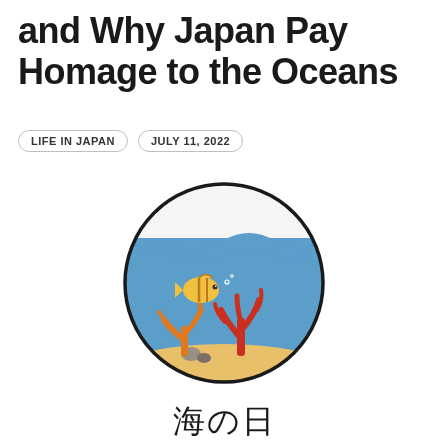and Why Japan Pay Homage to the Oceans
LIFE IN JAPAN   JULY 11, 2022
[Figure (illustration): Circular illustration of an underwater ocean scene with a yellow-striped fish, orange and red coral, pebbles, and sandy bottom against a blue water background with white sky at top.]
海の日